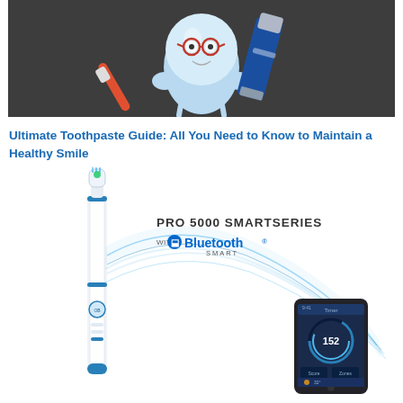[Figure (illustration): Dark gray background image showing a cartoon tooth character with red glasses holding a toothbrush, next to a blue and silver toothpaste tube]
Ultimate Toothpaste Guide: All You Need to Know to Maintain a Healthy Smile
[Figure (photo): Product image of Oral-B Pro 5000 SmartSeries electric toothbrush with Bluetooth Smart, shown next to a smartphone displaying a brushing tracking app. Blue wave design elements extend from the toothbrush to the phone.]